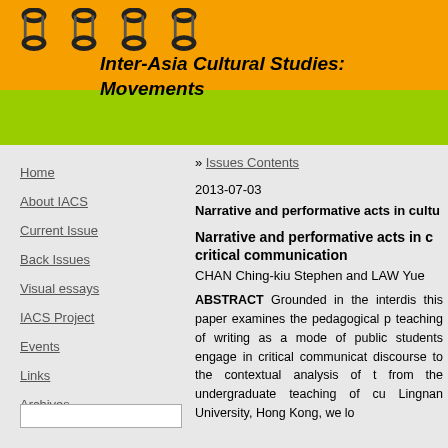[Figure (illustration): Journal header with orange background, spiral binding rings at top, and green bar below. Title reads Inter-Asia Cultural Studies: Movements in bold italic.]
Inter-Asia Cultural Studies: Movements
Home
About IACS
Current Issue
Back Issues
Visual essays
IACS Project
Events
Links
Archives
» Issues Contents
2013-07-03
Narrative and performative acts in cultu...
Narrative and performative acts in c... critical communication
CHAN Ching-kiu Stephen and LAW Yue...
ABSTRACT Grounded in the interdis... this paper examines the pedagogical p... teaching of writing as a mode of public... students engage in critical communicat... discourse to the contextual analysis of t... from the undergraduate teaching of cu... Lingnan University, Hong Kong, we lo...